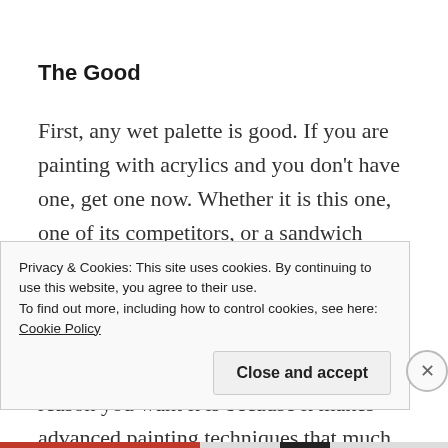The Good
First, any wet palette is good. If you are painting with acrylics and you don't have one, get one now. Whether it is this one, one of its competitors, or a sandwich container with paper towel and baking parchment, there are a myriad of reasons why you should be using a wet palette. While it does help save paint, the real reason you want it is because it makes advanced painting techniques that much easier.
Privacy & Cookies: This site uses cookies. By continuing to use this website, you agree to their use.
To find out more, including how to control cookies, see here: Cookie Policy
Close and accept